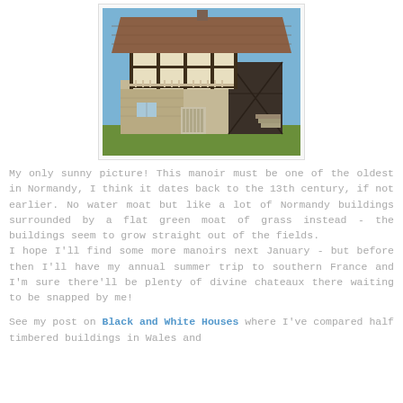[Figure (photo): A half-timbered Norman manor (manoir) with a tiled roof, stone lower walls, and exposed dark timber framing on the upper storey, surrounded by green grass under a blue sky.]
My only sunny picture! This manoir must be one of the oldest in Normandy, I think it dates back to the 13th century, if not earlier. No water moat but like a lot of Normandy buildings surrounded by a flat green moat of grass instead - the buildings seem to grow straight out of the fields.
I hope I'll find some more manoirs next January - but before then I'll have my annual summer trip to southern France and I'm sure there'll be plenty of divine chateaux there waiting to be snapped by me!
See my post on Black and White Houses where I've compared half timbered buildings in Wales and